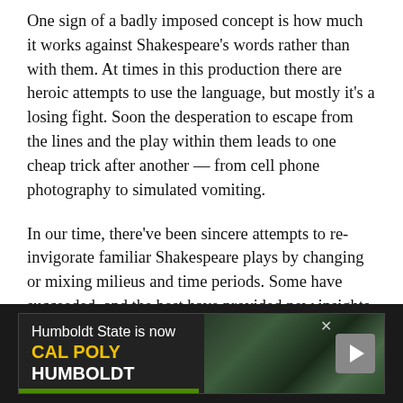One sign of a badly imposed concept is how much it works against Shakespeare's words rather than with them. At times in this production there are heroic attempts to use the language, but mostly it's a losing fight. Soon the desperation to escape from the lines and the play within them leads to one cheap trick after another — from cell phone photography to simulated vomiting.
In our time, there've been sincere attempts to re-invigorate familiar Shakespeare plays by changing or mixing milieus and time periods. Some have succeeded, and the best have provided new insights and interpretations as well as being highly entertaining. Others have been honorable failures.
But relocating Shakespeare's plays to ever more bizarre
[Figure (infographic): Advertisement banner: 'Humboldt State is now CAL POLY HUMBOLDT' with forest/campus background image and play button, on dark background]